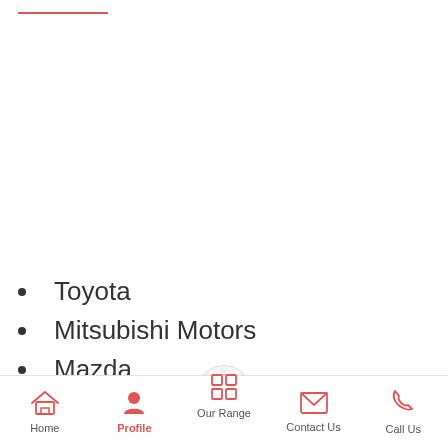Toyota
Mitsubishi Motors
Mazda
Nissan
Hind
ISUZU
Home  Profile  Our Range  Contact Us  Call Us